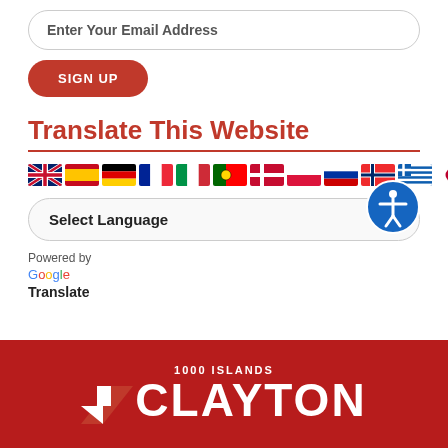[Figure (screenshot): Email address input field with placeholder text 'Enter Your Email Address' and a red rounded button labeled 'SIGN UP']
Translate This Website
[Figure (infographic): Row of country flag icons for language selection]
[Figure (screenshot): Select Language dropdown field with chevron and accessibility icon]
Powered by Google Translate
[Figure (logo): Clayton 1000 Islands logo in white on red background footer]